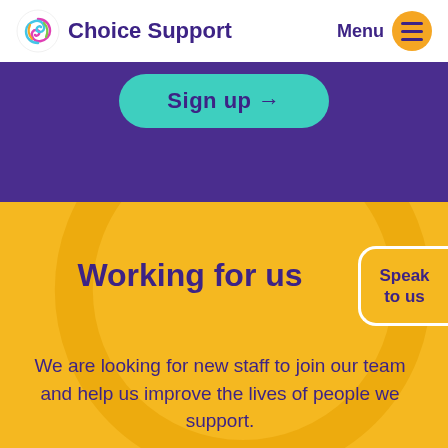Choice Support
[Figure (screenshot): Sign up button with teal/turquoise rounded pill shape and arrow, on purple background]
Working for us
Speak to us
We are looking for new staff to join our team and help us improve the lives of people we support.